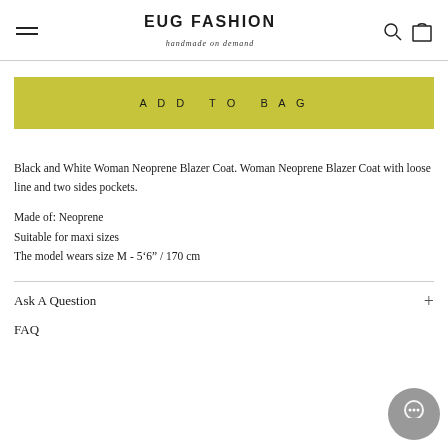EUG FASHION handmade on demand
ADD TO BAG
Black and White Woman Neoprene Blazer Coat. Woman Neoprene Blazer Coat with loose line and two sides pockets.
Made of: Neoprene
Suitable for maxi sizes
The model wears size M - 5‘6” / 170 cm
Ask A Question
FAQ